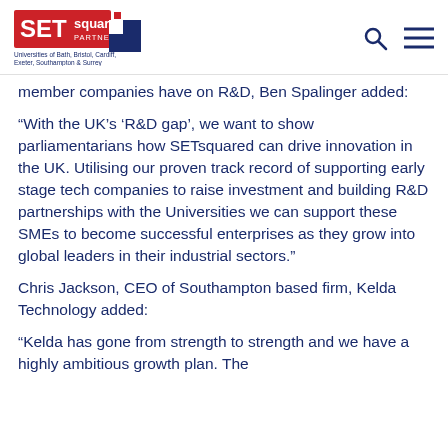SETsquared Partnership — Universities of Bath, Bristol, Cardiff, Exeter, Southampton & Surrey
member companies have on R&D, Ben Spalinger added:
“With the UK’s ‘R&D gap’, we want to show parliamentarians how SETsquared can drive innovation in the UK. Utilising our proven track record of supporting early stage tech companies to raise investment and building R&D partnerships with the Universities we can support these SMEs to become successful enterprises as they grow into global leaders in their industrial sectors.”
Chris Jackson, CEO of Southampton based firm, Kelda Technology added:
“Kelda has gone from strength to strength and we have a highly ambitious growth plan. The